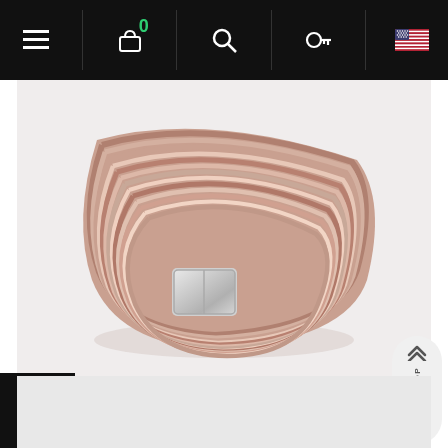[Figure (screenshot): E-commerce website navigation bar with hamburger menu, shopping cart with badge showing 0, search icon, key icon, and US flag icon on black background]
[Figure (photo): Pearl pink multi-strand leather cuff bracelet with silver magnetic clasp, photographed on white background]
Pearl pink leather cuff
CHF20.00
[Figure (screenshot): Back to top button (chevron up arrows with BACK TO TOP text)]
[Figure (screenshot): Refresh/reload icon with count 0 in black box at bottom left]
[Figure (screenshot): Next product preview area, light grey rectangle at bottom]